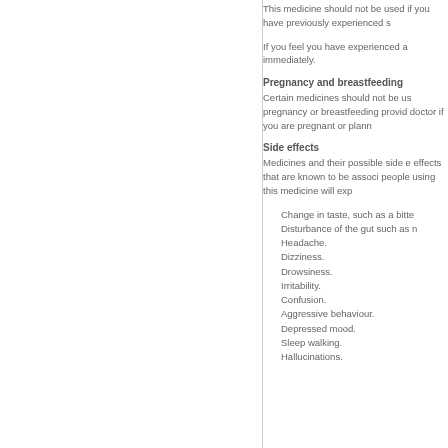This medicine should not be used if you have previously experienced s
If you feel you have experienced a immediately.
Pregnancy and breastfeeding
Certain medicines should not be us pregnancy or breastfeeding provid doctor if you are pregnant or plann
Side effects
Medicines and their possible side e effects that are known to be associ people using this medicine will exp
Change in taste, such as a bitte
Disturbance of the gut such as n
Headache.
Dizziness.
Drowsiness.
Irritability.
Confusion.
Aggressive behaviour.
Depressed mood.
Sleep walking.
Hallucinations.